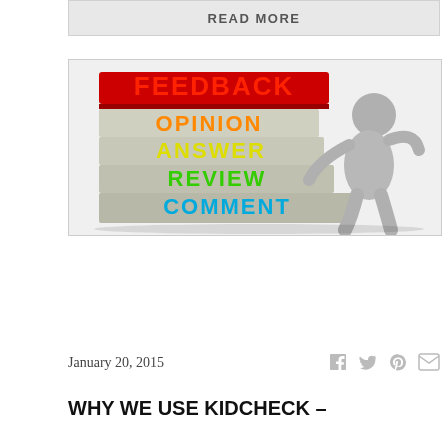READ MORE
[Figure (illustration): 3D illustration showing stacked word blocks reading FEEDBACK (red), OPINION (orange), ANSWER (yellow), REVIEW (green), COMMENT (blue), with a gray figure leaning against them]
January 20, 2015
WHY WE USE KIDCHECK –